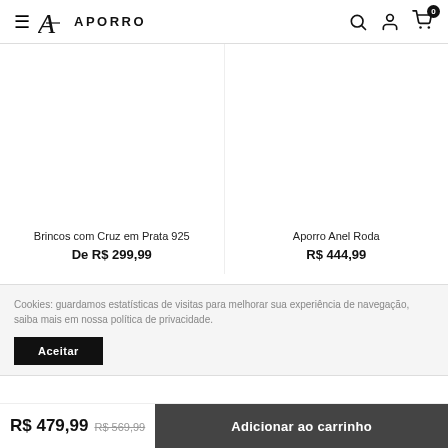≡ A APORRO (search, account, cart: 0)
Brincos com Cruz em Prata 925
De R$ 299,99
Aporro Anel Roda
R$ 444,99
Cookies: guardamos estatísticas de visitas para melhorar sua experiência de navegação, saiba mais em nossa política de privacidade.
Aceitar
R$ 479,99   R$ 569,99   Adicionar ao carrinho